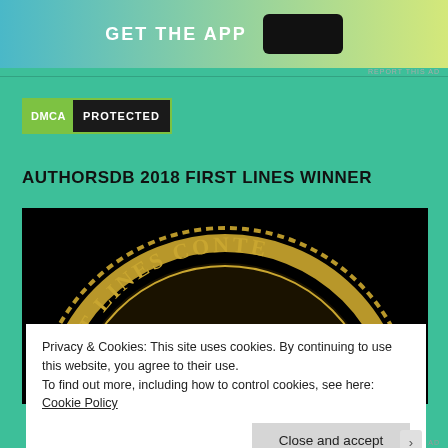[Figure (screenshot): App advertisement banner with gradient background and 'GET THE APP' text with phone graphic]
[Figure (logo): DMCA Protected badge with green DMCA label and black PROTECTED text]
AUTHORSDB 2018 FIRST LINES WINNER
[Figure (photo): Dark circular award medallion showing '2018 FIRST LINES CONTEST' text on gold badge against black background]
Privacy & Cookies: This site uses cookies. By continuing to use this website, you agree to their use.
To find out more, including how to control cookies, see here: Cookie Policy